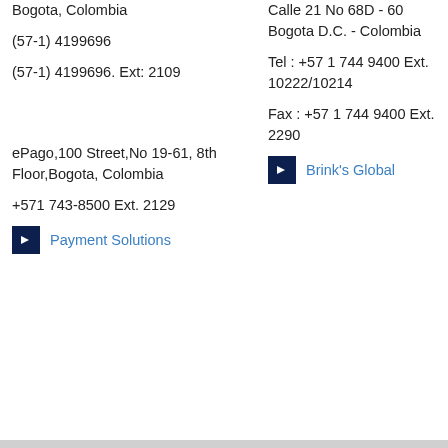Bogota, Colombia
(57-1) 4199696
(57-1) 4199696. Ext: 2109
ePago,100 Street,No 19-61, 8th Floor,Bogota, Colombia
+571 743-8500 Ext. 2129
Payment Solutions
Calle 21 No 68D - 60
Bogota D.C. - Colombia
Tel : +57 1 744 9400 Ext. 10222/10214
Fax : +57 1 744 9400 Ext. 2290
Brink's Global